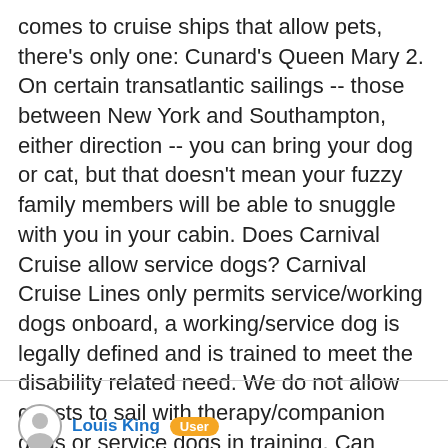comes to cruise ships that allow pets, there's only one: Cunard's Queen Mary 2. On certain transatlantic sailings -- those between New York and Southampton, either direction -- you can bring your dog or cat, but that doesn't mean your fuzzy family members will be able to snuggle with you in your cabin. Does Carnival Cruise allow service dogs? Carnival Cruise Lines only permits service/working dogs onboard, a working/service dog is legally defined and is trained to meet the disability related need. We do not allow guests to sail with therapy/companion dogs or service dogs in training. Can emotional support dogs go on cruises? Emotional support animals, which provide emotional…
Louis King  User